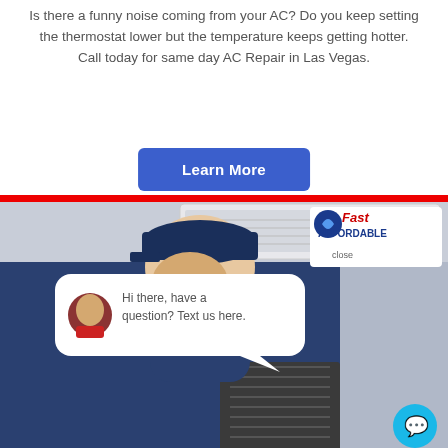Is there a funny noise coming from your AC? Do you keep setting the thermostat lower but the temperature keeps getting hotter. Call today for same day AC Repair in Las Vegas.
[Figure (infographic): Blue 'Learn More' button with rounded corners on white background]
[Figure (photo): HVAC technician in blue cap and uniform working on an air conditioning unit mounted on a wall. Overlay elements include a 'Fast AFFORDABLE' badge with a logo icon and a 'close' link, plus a chat bubble saying 'Hi there, have a question? Text us here.' with a female avatar, and a cyan chat button in the bottom right.]